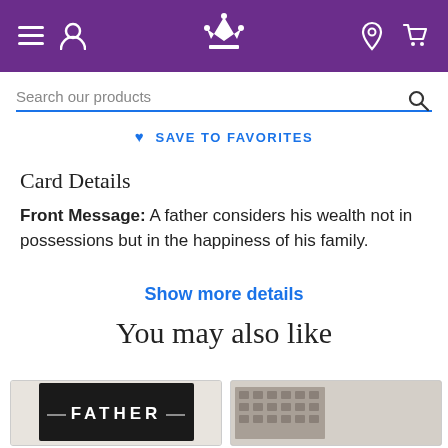Navigation bar with hamburger menu, user icon, crown logo, location pin, and cart icon
Search our products
♥ SAVE TO FAVORITES
Card Details
Front Message: A father considers his wealth not in possessions but in the happiness of his family.
Show more details
You may also like
[Figure (photo): Product card showing a dark card with white text reading FATHER]
[Figure (photo): Partial product card on the right edge showing a card with a grid/pattern design]